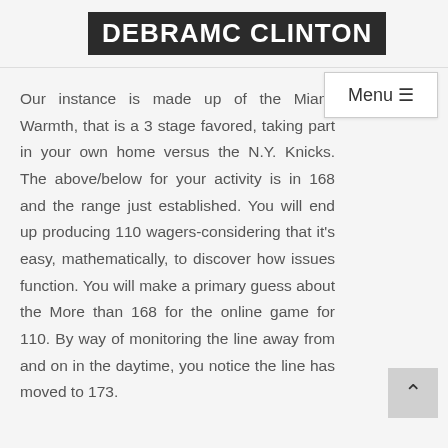DEBRAMC CLINTON
Our instance is made up of the Miami Warmth, that is a 3 stage favored, taking part in your own home versus the N.Y. Knicks. The above/below for your activity is in 168 and the range just established. You will end up producing 110 wagers-considering that it's easy, mathematically, to discover how issues function. You will make a primary guess about the More than 168 for the online game for 110. By way of monitoring the line away from and on in the daytime, you notice the line has moved to 173.